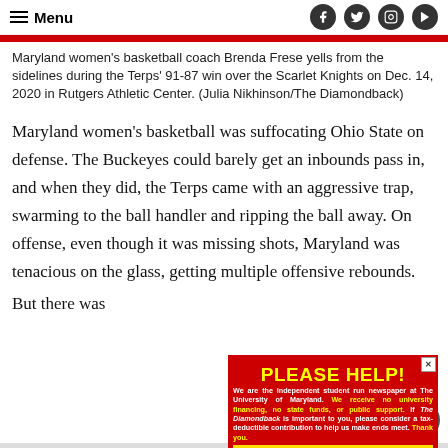Menu
Maryland women's basketball coach Brenda Frese yells from the sidelines during the Terps' 91-87 win over the Scarlet Knights on Dec. 14, 2020 in Rutgers Athletic Center. (Julia Nikhinson/The Diamondback)
Maryland women’s basketball was suffocating Ohio State on defense. The Buckeyes could barely get an inbounds pass in, and when they did, the Terps came with an aggressive trap, swarming to the ball handler and ripping the ball away. On offense, even though it was missing shots, Maryland was tenacious on the glass, getting multiple offensive rebounds.
But there was
[Figure (other): Red advertisement banner reading PLEASE HELP! from The Diamondback student newspaper, with yellow text on red background and a CLICK HERE button.]